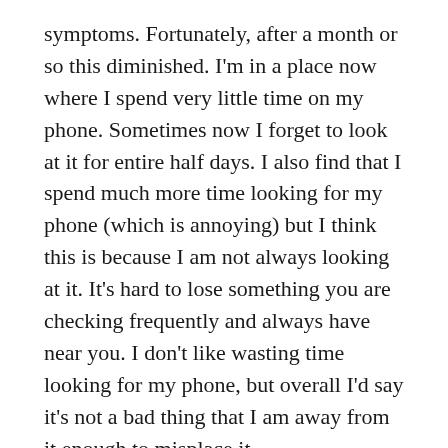symptoms.  Fortunately, after a month or so this diminished.  I'm in a place now where I spend very little time on my phone.  Sometimes now I forget to look at it for entire half days.  I also find that I spend much more time looking for my phone (which is annoying) but I think this is because I am not always looking at it.  It's hard to lose something you are checking frequently and always have near you.  I don't like wasting time looking for my phone, but overall I'd say it's not a bad thing that I am away from it enough to misplace it.
One thing I expected, that didn't happen, was having extra time.  I think this can largely explained by having another child.  We've had a lot of family visiting as